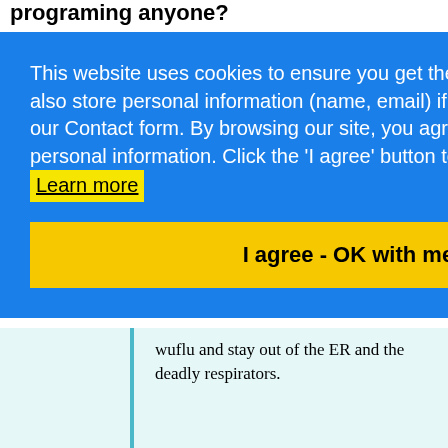programing anyone?
This website uses cookies to ensure you get the best experience on our website. We may also store personal information (name, email) if you add comments to the site, or if you use our Contact form. By browsing our site, you agree to our use of cookies and storage of other personal information. Click the 'I agree' button to agree and continue viewing our site. Or, Learn more
I agree - OK with me! (Click here)
wuflu and stay out of the ER and the deadly respirators.